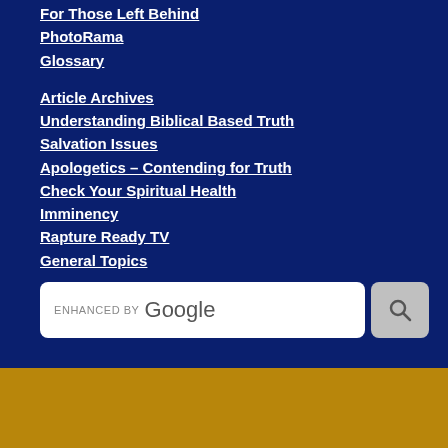For Those Left Behind
PhotoRama
Glossary
Article Archives
Understanding Biblical Based Truth
Salvation Issues
Apologetics – Contending for Truth
Check Your Spiritual Health
Imminency
Rapture Ready TV
General Topics
[Figure (screenshot): Search box with 'ENHANCED BY Google' placeholder text and a search button]
[Figure (logo): Facebook circular icon]
Translate »